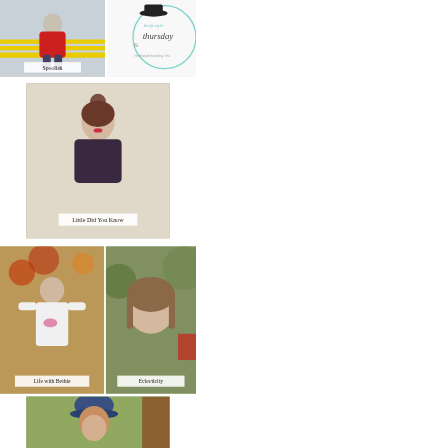[Figure (photo): Person in red jacket sitting on yellow bench - Spoolish blog]
Spoolish
[Figure (logo): Thrift Style Thursday logo with hat illustration and hashtags #thriftstylethursday #tst]
[Figure (photo): Woman with hair bun wearing dark top - Little Did You Know blog]
Little Did You Know
[Figure (photo): Woman in white long sleeve top with pink design outdoors among autumn leaves - Life with Bethie blog]
Life with Bethie
[Figure (photo): Close-up of woman with short hair indoors - Eclecticity blog]
Eclecticity
[Figure (photo): Partial photo of person wearing blue hat outdoors near tree]